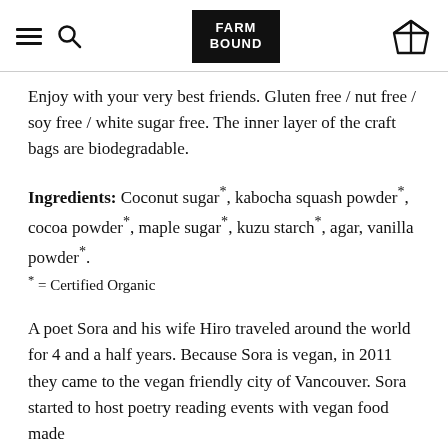FARM BOUND
Enjoy with your very best friends. Gluten free / nut free / soy free / white sugar free. The inner layer of the craft bags are biodegradable.
Ingredients: Coconut sugar*, kabocha squash powder*, cocoa powder*, maple sugar*, kuzu starch*, agar, vanilla powder*.
* = Certified Organic
A poet Sora and his wife Hiro traveled around the world for 4 and a half years. Because Sora is vegan, in 2011 they came to the vegan friendly city of Vancouver. Sora started to host poetry reading events with vegan food made